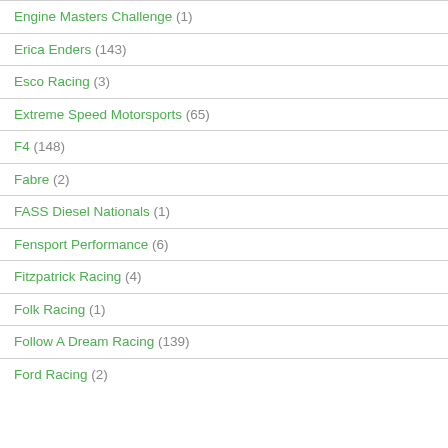Engine Masters Challenge (1)
Erica Enders (143)
Esco Racing (3)
Extreme Speed Motorsports (65)
F4 (148)
Fabre (2)
FASS Diesel Nationals (1)
Fensport Performance (6)
Fitzpatrick Racing (4)
Folk Racing (1)
Follow A Dream Racing (139)
Ford Racing (2)